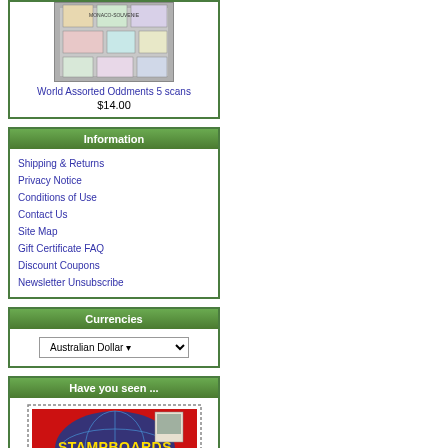[Figure (photo): Stamp collection product image showing Monaco souvenir stamps]
World Assorted Oddments 5 scans
$14.00
Information
Shipping & Returns
Privacy Notice
Conditions of Use
Contact Us
Site Map
Gift Certificate FAQ
Discount Coupons
Newsletter Unsubscribe
Currencies
Australian Dollar
Have you seen ...
[Figure (logo): StampBoards.com banner - Where Philatelists Meet, red background with globe]